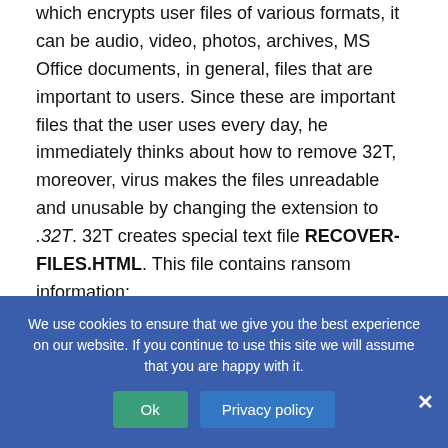which encrypts user files of various formats, it can be audio, video, photos, archives, MS Office documents, in general, files that are important to users. Since these are important files that the user uses every day, he immediately thinks about how to remove 32T, moreover, virus makes the files unreadable and unusable by changing the extension to .32T. 32T creates special text file RECOVER-FILES.HTML. This file contains ransom information:
Your files are Encrypted!
For data recovery needs decryptor.
We use cookies to ensure that we give you the best experience on our website. If you continue to use this site we will assume that you are happy with it.